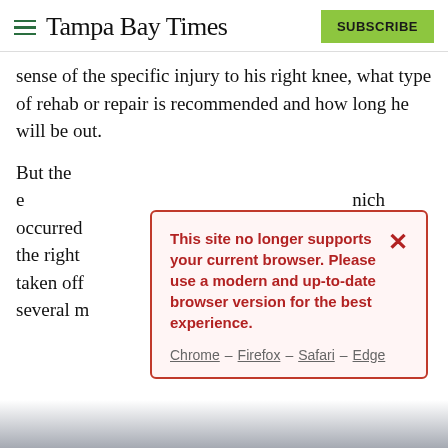Tampa Bay Times | SUBSCRIBE
sense of the specific injury to his right knee, what type of rehab or repair is recommended and how long he will be out.
But the e... nich occurred... d into the right... ad to be taken off... t least several m...
[Figure (screenshot): Modal dialog overlay with red border on pink background. Text reads: 'This site no longer supports your current browser. Please use a modern and up-to-date browser version for the best experience.' with links: Chrome – Firefox – Safari – Edge and an X close button.]
“Like I said (Monday) night, (we) anticipate he’s going to be out for a while,” Cash said.
Margot’s extended absence is significant in many ways, as he is one of the Rays’ best right-handed hitters, a smooth defender in all three outfield spots and a team leader,